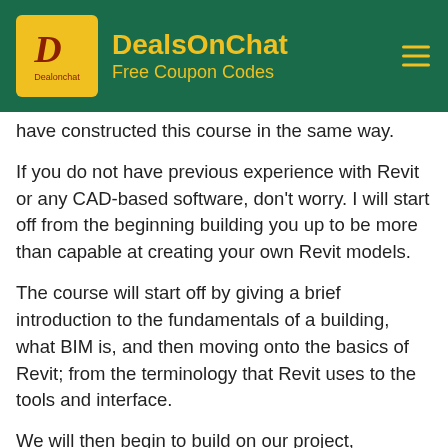DealsOnChat — Free Coupon Codes
have constructed this course in the same way.
If you do not have previous experience with Revit or any CAD-based software, don't worry. I will start off from the beginning building you up to be more than capable at creating your own Revit models.
The course will start off by giving a brief introduction to the fundamentals of a building, what BIM is, and then moving onto the basics of Revit; from the terminology that Revit uses to the tools and interface.
We will then begin to build on our project, introducing a new tool and feature as we progress.
Adding in the datum elements, such as the levels and grids…